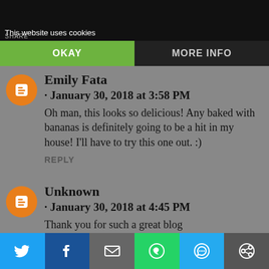This website uses cookies
OKAY
MORE INFO
Emily Fata
· January 30, 2018 at 3:58 PM
Oh man, this looks so delicious! Any baked with bananas is definitely going to be a hit in my house! I'll have to try this one out. :)
REPLY
Unknown
· January 30, 2018 at 4:45 PM
Thank you for such a great blog
Share bar: Twitter, Facebook, Email, WhatsApp, SMS, Other